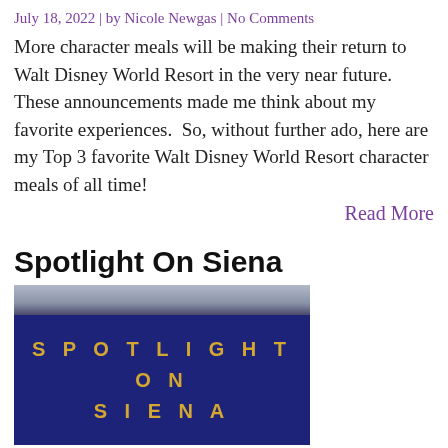July 18, 2022 | by Nicole Newgas | No Comments
More character meals will be making their return to Walt Disney World Resort in the very near future. These announcements made me think about my favorite experiences.  So, without further ado, here are my Top 3 favorite Walt Disney World Resort character meals of all time!
Read More
Spotlight On Siena
[Figure (photo): Book cover for 'Spotlight On Siena' showing dark blue background with gold text reading SPOTLIGHT ON SIENA, with a gray sky at the top]